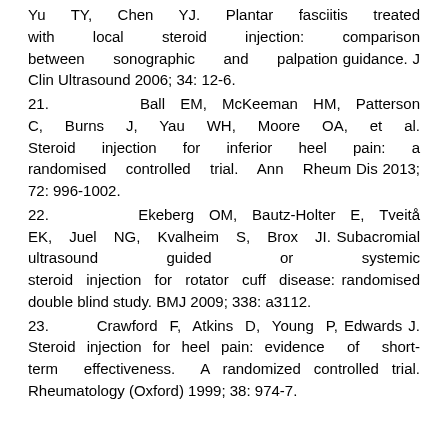Yu TY, Chen YJ. Plantar fasciitis treated with local steroid injection: comparison between sonographic and palpation guidance. J Clin Ultrasound 2006; 34: 12-6.
21. Ball EM, McKeeman HM, Patterson C, Burns J, Yau WH, Moore OA, et al. Steroid injection for inferior heel pain: a randomised controlled trial. Ann Rheum Dis 2013; 72: 996-1002.
22. Ekeberg OM, Bautz-Holter E, Tveitå EK, Juel NG, Kvalheim S, Brox JI. Subacromial ultrasound guided or systemic steroid injection for rotator cuff disease: randomised double blind study. BMJ 2009; 338: a3112.
23. Crawford F, Atkins D, Young P, Edwards J. Steroid injection for heel pain: evidence of short-term effectiveness. A randomized controlled trial. Rheumatology (Oxford) 1999; 38: 974-7.